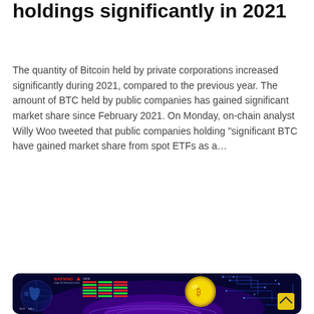holdings significantly in 2021
The quantity of Bitcoin held by private corporations increased significantly during 2021, compared to the previous year. The amount of BTC held by public companies has gained significant market share since February 2021. On Monday, on-chain analyst Willy Woo tweeted that public companies holding “significant BTC have gained market share from spot ETFs as a…
Read more ∨
[Figure (photo): A digital financial illustration showing a glowing Bitcoin coin on a dark blue background with circuit board patterns, a globe map, trading data columns with red and green bars, and a yellow scroll-to-top button.]